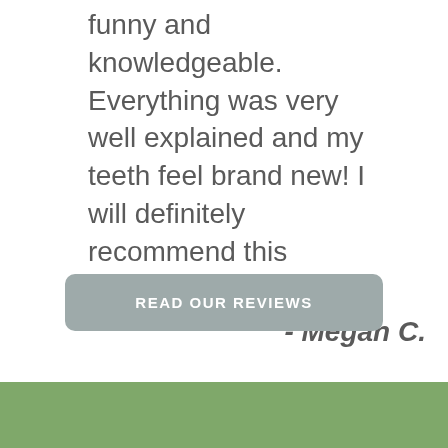funny and knowledgeable. Everything was very well explained and my teeth feel brand new! I will definitely recommend this practice to others!"
- Megan C.
READ OUR REVIEWS